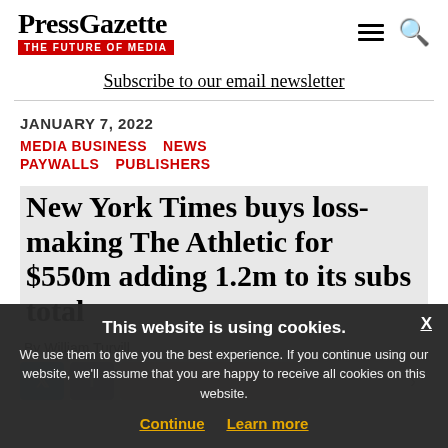PressGazette — THE FUTURE OF MEDIA
Subscribe to our email newsletter
JANUARY 7, 2022
MEDIA BUSINESS
NEWS
PAYWALLS
PUBLISHERS
New York Times buys loss-making The Athletic for $550m adding 1.2m to its subs total
By William Turvill
This website is using cookies. We use them to give you the best experience. If you continue using our website, we'll assume that you are happy to receive all cookies on this website. Continue | Learn more